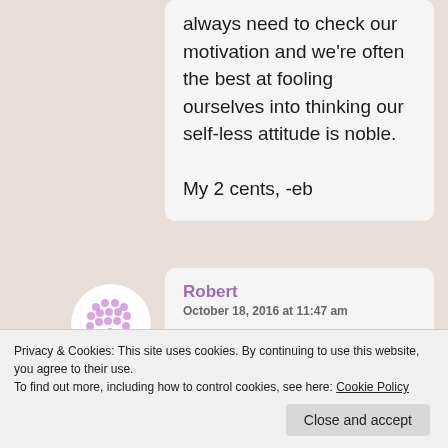always need to check our motivation and we're often the best at fooling ourselves into thinking our self-less attitude is noble.

My 2 cents, -eb
[Figure (illustration): Circular avatar icon with purple dot/grid pattern design on white background]
Robert
October 18, 2016 at 11:47 am
I agree
Privacy & Cookies: This site uses cookies. By continuing to use this website, you agree to their use.
To find out more, including how to control cookies, see here: Cookie Policy
Close and accept